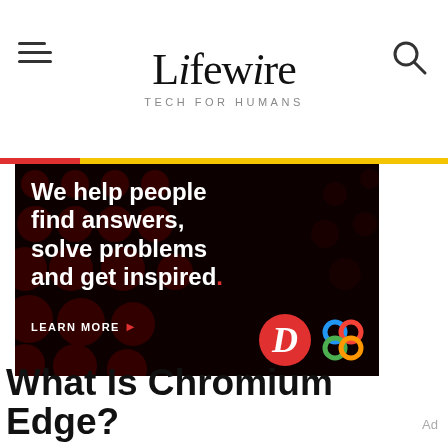Lifewire TECH FOR HUMANS
[Figure (illustration): Dark advertisement banner with dot pattern background. Text reads: 'We help people find answers, solve problems and get inspired.' with 'LEARN MORE' button and logos for Dotdash and IAC]
What Is Chromium Edge?